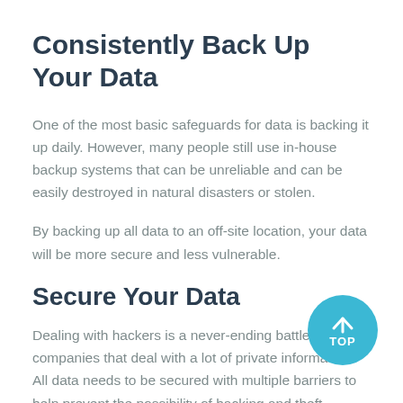Consistently Back Up Your Data
One of the most basic safeguards for data is backing it up daily. However, many people still use in-house backup systems that can be unreliable and can be easily destroyed in natural disasters or stolen.
By backing up all data to an off-site location, your data will be more secure and less vulnerable.
Secure Your Data
Dealing with hackers is a never-ending battle for companies that deal with a lot of private information. All data needs to be secured with multiple barriers to help prevent the possibility of hacking and theft.